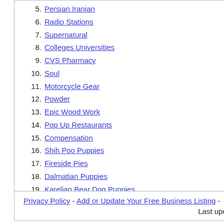5. Persian Iranian
6. Radio Stations
7. Supernatural
8. Colleges Universities
9. CVS Pharmacy
10. Soul
11. Motorcycle Gear
12. Powder
13. Epic Wood Work
14. Pop Up Restaurants
15. Compensation
16. Shih Poo Puppies
17. Fireside Pies
18. Dalmatian Puppies
19. Karelian Bear Dog Puppies
20. Labrador Retriever Puppies
Privacy Policy - Add or Update Your Free Business Listing - Last updated: August 28, 2022